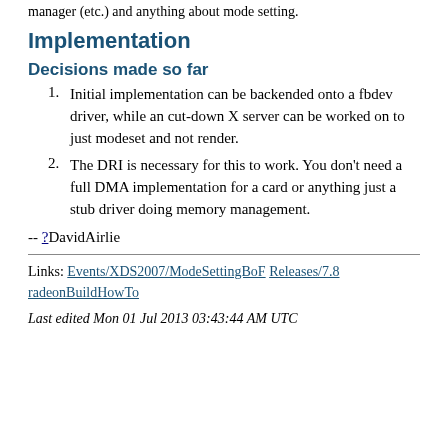manager (etc.) and anything about mode setting.
Implementation
Decisions made so far
Initial implementation can be backended onto a fbdev driver, while an cut-down X server can be worked on to just modeset and not render.
The DRI is necessary for this to work. You don't need a full DMA implementation for a card or anything just a stub driver doing memory management.
-- ?DavidAirlie
Links: Events/XDS2007/ModeSettingBoF Releases/7.8 radeonBuildHowTo
Last edited Mon 01 Jul 2013 03:43:44 AM UTC